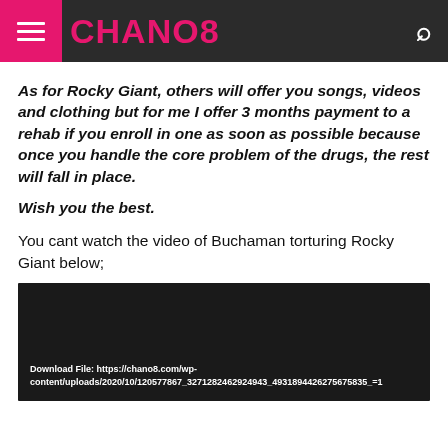CHANO8
As for Rocky Giant, others will offer you songs, videos and clothing but for me I offer 3 months payment to a rehab if you enroll in one as soon as possible because once you handle the core problem of the drugs, the rest will fall in place.
Wish you the best.
You cant watch the video of Buchaman torturing Rocky Giant below;
[Figure (screenshot): Dark video embed area with a download file URL text at the bottom: Download File: https://chano8.com/wp-content/uploads/2020/10/120577867_3271282462924943_4931894426275675835_=1]